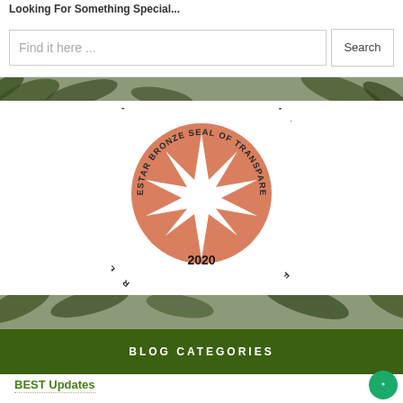Looking For Something Special...
Find it here ...
Search
[Figure (logo): GuideStar Bronze Seal of Transparency 2020 — circular orange badge with white star burst in center and text around the perimeter, year 2020 below]
BLOG CATEGORIES
BEST Updates
BEST Wishes